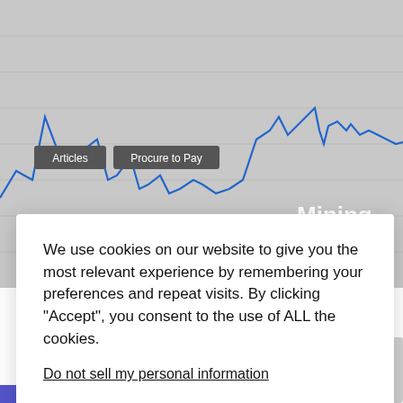[Figure (screenshot): Website screenshot showing a line chart with blue lines on a gray background. Two dark tooltip labels are visible: 'Articles' and 'Procure to Pay'. Partial page title visible in white bold text reading '...Mining'. Bottom right shows a partial panel with a robot/bot icon and a delta symbol with 0.]
We use cookies on our website to give you the most relevant experience by remembering your preferences and repeat visits. By clicking "Accept", you consent to the use of ALL the cookies.
Do not sell my personal information.
Cookie Settings
Accept